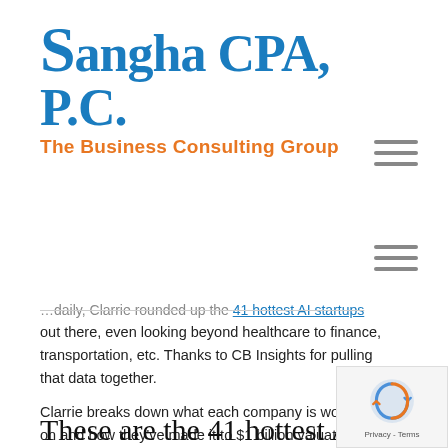[Figure (logo): Sangha CPA, P.C. - The Business Consulting Group logo with blue serif text and orange subtitle]
— — — (hamburger menu icons)
...daily, Clarrie rounded up the 41 hottest AI startups out there, even looking beyond healthcare to finance, transportation, etc. Thanks to CB Insights for pulling that data together.
Clarrie breaks down what each company is working on and how they've made it to $1 billion valuation.
These are the 41 hottest AI